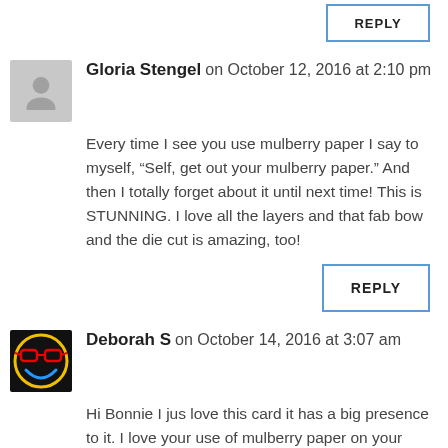REPLY
Gloria Stengel on October 12, 2016 at 2:10 pm
Every time I see you use mulberry paper I say to myself, “Self, get out your mulberry paper.” And then I totally forget about it until next time! This is STUNNING. I love all the layers and that fab bow and the die cut is amazing, too!
REPLY
Deborah S on October 14, 2016 at 3:07 am
Hi Bonnie I jus love this card it has a big presence to it. I love your use of mulberry paper on your cards. I think it gives the edges of your card a soft & delicate look. Like putting